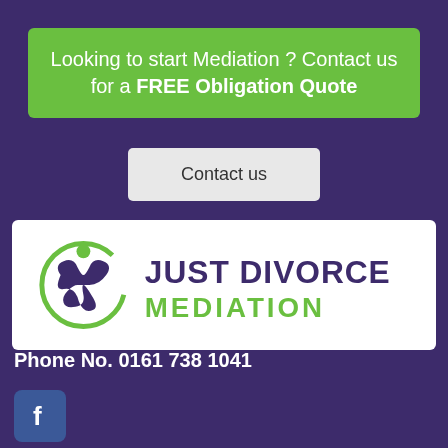Looking to start Mediation ? Contact us for a FREE Obligation Quote
Contact us
[Figure (logo): Just Divorce Mediation logo — abstract figure with infinity-like symbol inside a green circle arc, 'JUST DIVORCE' in dark purple bold text and 'MEDIATION' in green bold text]
Phone No. 0161 738 1041
[Figure (logo): Facebook icon — white 'f' letter on blue rounded square background]